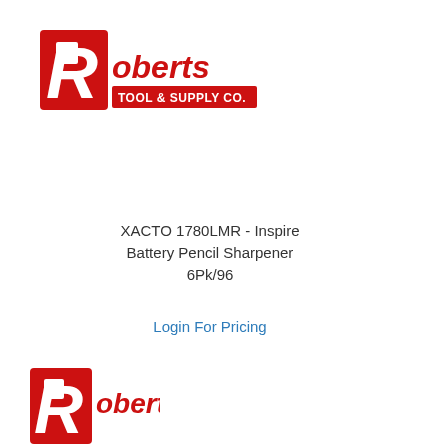[Figure (logo): Roberts Tool & Supply Co. logo — red R with white square cutout, text 'Roberts' in red bold, 'TOOL & SUPPLY CO.' on red background bar]
XACTO 1780LMR - Inspire Battery Pencil Sharpener 6Pk/96
Login For Pricing
[Figure (logo): Roberts Tool & Supply Co. logo — partial view at bottom of page, showing large red R and partial 'Roberts' text]